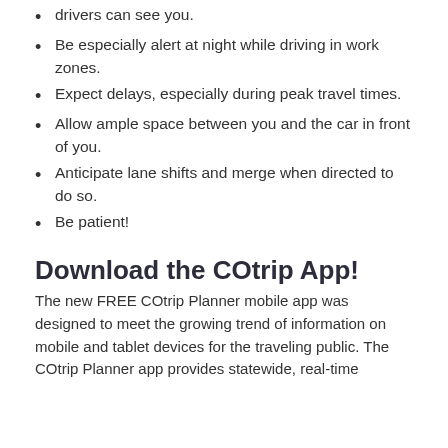drivers can see you.
Be especially alert at night while driving in work zones.
Expect delays, especially during peak travel times.
Allow ample space between you and the car in front of you.
Anticipate lane shifts and merge when directed to do so.
Be patient!
Download the COtrip App!
The new FREE COtrip Planner mobile app was designed to meet the growing trend of information on mobile and tablet devices for the traveling public. The COtrip Planner app provides statewide, real-time